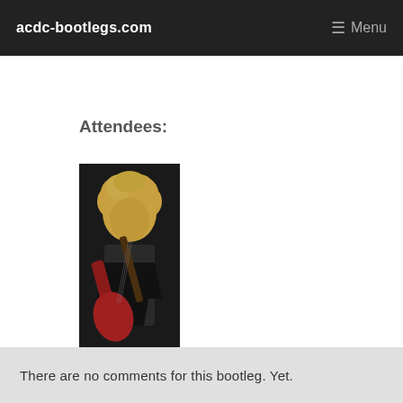acdc-bootlegs.com  ≡ Menu
Attendees:
[Figure (photo): Photo of a rock guitarist with curly hair playing an electric guitar, wearing a dark jacket, dark background.]
viper
Member Comments [New Comment]
There are no comments for this bootleg. Yet.